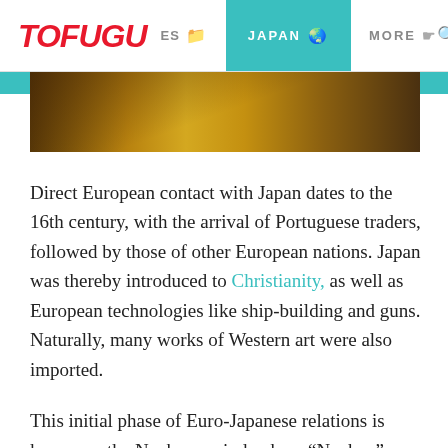TOFUGU  ES  JAPAN  MORE
[Figure (photo): Partial view of a Japanese or East Asian artwork/painting with warm brown and golden tones, showing wooden textures and dark curved forms.]
Direct European contact with Japan dates to the 16th century, with the arrival of Portuguese traders, followed by those of other European nations. Japan was thereby introduced to Christianity, as well as European technologies like ship-building and guns. Naturally, many works of Western art were also imported.
This initial phase of Euro-Japanese relations is known as the Nanban period, where “Nanban” means “southern barbarians”. The term “Nanban art” denotes